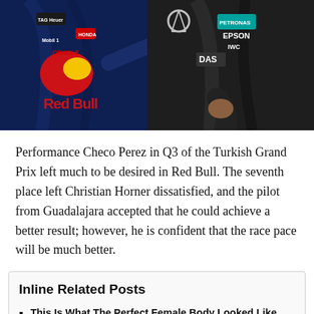[Figure (photo): Two Formula 1 drivers in racing suits gesturing/pointing at each other. Left driver wears Red Bull Racing suit (navy blue with Red Bull logo, TAG Heuer, Honda, Oracle, Mobil 1 sponsorships). Right driver wears Mercedes AMG suit (black with Petronas, Epson, IWC, DAS sponsorships).]
Performance Checo Perez in Q3 of the Turkish Grand Prix left much to be desired in Red Bull. The seventh place left Christian Horner dissatisfied, and the pilot from Guadalajara accepted that he could achieve a better result; however, he is confident that the race pace will be much better.
Inline Related Posts
This Is What The Perfect Female Body Looked Like 100 Years Ago (And Every Decade After)
Little girl stumbles upon a wild surprise after she discovers a secret door in her house
The history of the wonder woman costume worn by